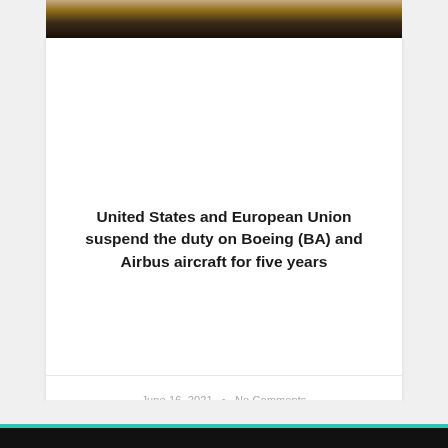[Figure (photo): Partial photo of a person, cropped, showing dark background and partial face/clothing at the top of the card]
United States and European Union suspend the duty on Boeing (BA) and Airbus aircraft for five years
June 16, 2021  •  No Comments